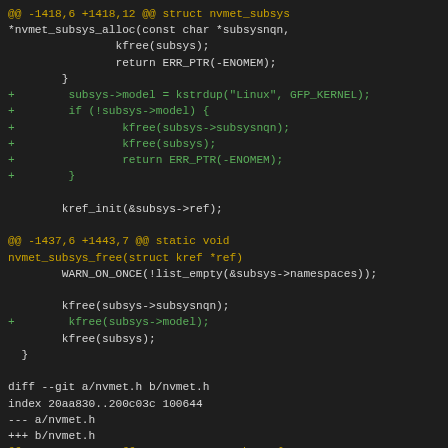[Figure (other): Git diff output showing code changes to nvmet subsystem in C, with added lines in green and context lines in white/gold on dark background]